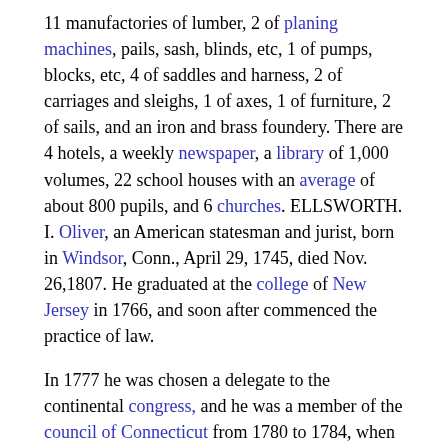11 manufactories of lumber, 2 of planing machines, pails, sash, blinds, etc, 1 of pumps, blocks, etc, 4 of saddles and harness, 2 of carriages and sleighs, 1 of axes, 1 of furniture, 2 of sails, and an iron and brass foundery. There are 4 hotels, a weekly newspaper, a library of 1,000 volumes, 22 school houses with an average of about 800 pupils, and 6 churches. ELLSWORTH. I. Oliver, an American statesman and jurist, born in Windsor, Conn., April 29, 1745, died Nov. 26,1807. He graduated at the college of New Jersey in 1766, and soon after commenced the practice of law.
In 1777 he was chosen a delegate to the continental congress, and he was a member of the council of Connecticut from 1780 to 1784, when he was appointed a judge of the superior court. In 1787 he was elected to the convention which framed the federal constitution, and was afterward a member of the state convention which ratified that instrument. He was a senator of the United States from 1789 to 1796, when he was nominated by Washington chief justice of the supreme court of the United States, over which he presided with great distinction, his opinions being marked by sound legal and ethical principles, in clear and felicitous language. In 1799 he was appointed by President Adams envoy extraordinary to Paris, and with his